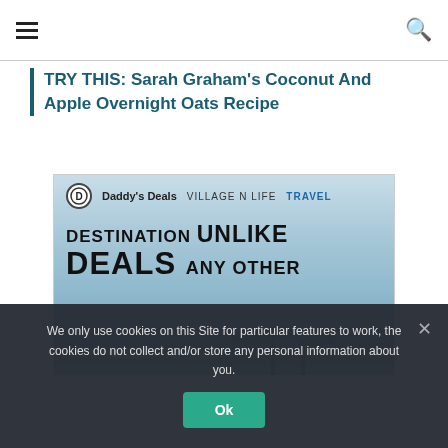☰  [menu] ... [search]
TRY THIS: Sarah Graham's Coconut And Apple Overnight Oats Recipe
[Figure (screenshot): Advertisement banner for Daddy's Deals – Village N Life Travel. Text reads: DESTINATION UNLIKE DEALS ANY OTHER, with a beach/palm tree background.]
We only use cookies on this Site for particular features to work, the cookies do not collect and/or store any personal information about you.